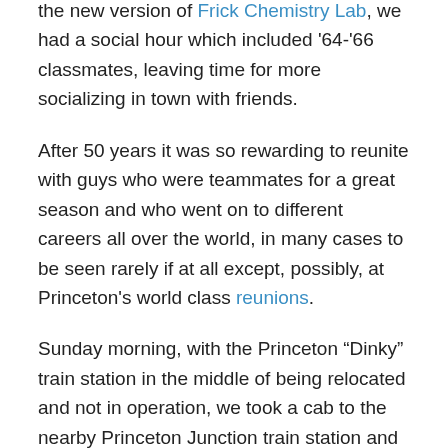the new version of Frick Chemistry Lab, we had a social hour which included '64-'66 classmates, leaving time for more socializing in town with friends.
After 50 years it was so rewarding to reunite with guys who were teammates for a great season and who went on to different careers all over the world, in many cases to be seen rarely if at all except, possibly, at Princeton's world class reunions.
Sunday morning, with the Princeton “Dinky” train station in the middle of being relocated and not in operation, we took a cab to the nearby Princeton Junction train station and caught Amtrak to Philadelphia, where we changed trains for a stop in Baltimore to visit with our dear friend, John Racanelli, CEO of the National Aquarium.
This was a major, major highlight of our trip – John met us